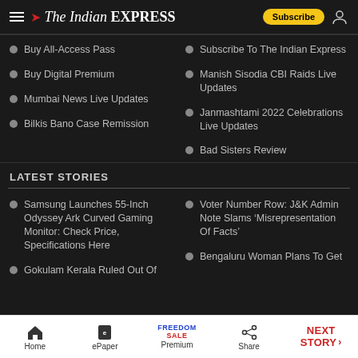The Indian EXPRESS — Subscribe
Buy All-Access Pass
Subscribe To The Indian Express
Buy Digital Premium
Manish Sisodia CBI Raids Live Updates
Mumbai News Live Updates
Janmashtami 2022 Celebrations Live Updates
Bilkis Bano Case Remission
Bad Sisters Review
LATEST STORIES
Samsung Launches 55-Inch Odyssey Ark Curved Gaming Monitor: Check Price, Specifications Here
Voter Number Row: J&K Admin Note Slams 'Misrepresentation Of Facts'
Gokulam Kerala Ruled Out Of
Bengaluru Woman Plans To Get
Home | ePaper | Premium (Freedom Sale) | Share | NEXT STORY